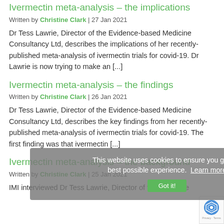Ivermectin meta-analysis – the implications
Written by Christine Clark | 27 Jan 2021
Dr Tess Lawrie, Director of the Evidence-based Medicine Consultancy Ltd, describes the implications of her recently-published meta-analysis of ivermectin trials for covid-19. Dr Lawrie is now trying to make an [...]
Ivermectin meta-analysis – the findings
Written by Christine Clark | 26 Jan 2021
Dr Tess Lawrie, Director of the Evidence-based Medicine Consultancy Ltd, describes the key findings from her recently-published meta-analysis of ivermectin trials for covid-19. The first finding was that ivermectin [...]
Ivermectin meta-analysis – the background
Written by Christine Clark | 25 Jan 2021
IMI interviewed Dr Tess Lawrie, Director of the Evidence
This website uses cookies to ensure you get the best possible experience.  Learn more